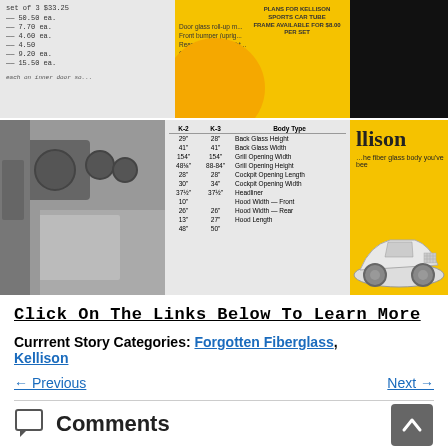[Figure (photo): Top strip: left portion shows price list text with line items (set of 3 $33.25, 50.50 ea, 7.70 ea, 4.60 ea, 4.50, 9.20 ea, 15.50 ea) alongside door glass roll-up, bumper descriptions; center shows yellow background with text 'PLANS FOR KELLISON SPORTS CAR TUBE FRAME AVAILABLE FOR $8.00 PER SET'; right shows black area. Middle strip: left shows black-and-white photo of car interior (dashboard/door); center shows specification table with K-2 and K-3 columns and body type rows; right shows yellow panel with 'llison' text and partial car illustration.]
Click On The Links Below To Learn More
Currrent Story Categories: Forgotten Fiberglass, Kellison
← Previous
Next →
Comments